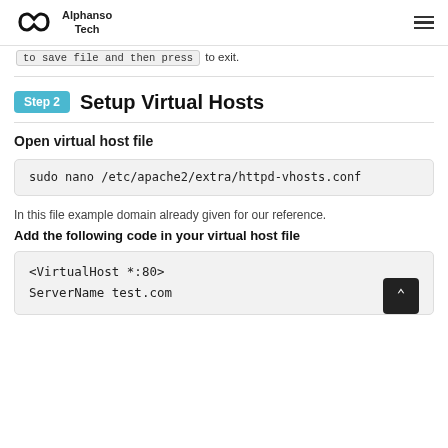Alphanso Tech
to exit.
Step 2  Setup Virtual Hosts
Open virtual host file
sudo nano /etc/apache2/extra/httpd-vhosts.conf
In this file example domain already given for our reference.
Add the following code in your virtual host file
<VirtualHost *:80>
ServerName test.com